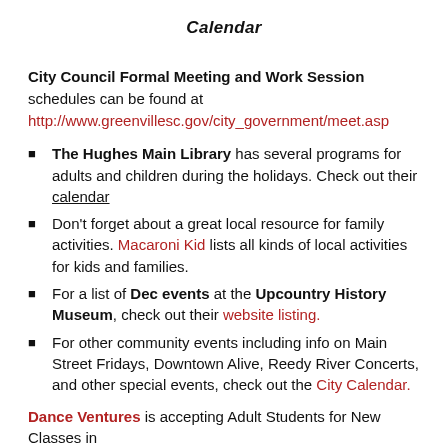Calendar
City Council Formal Meeting and Work Session schedules can be found at http://www.greenvillesc.gov/city_government/meet.asp
The Hughes Main Library has several programs for adults and children during the holidays. Check out their calendar
Don't forget about a great local resource for family activities. Macaroni Kid lists all kinds of local activities for kids and families.
For a list of Dec events at the Upcountry History Museum, check out their website listing.
For other community events including info on Main Street Fridays, Downtown Alive, Reedy River Concerts, and other special events, check out the City Calendar.
Dance Ventures is accepting Adult Students for New Classes in